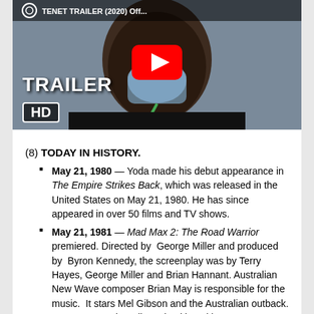[Figure (screenshot): YouTube video thumbnail showing a man wearing an oxygen mask. Text overlay reads 'TRAILER HD'. A red YouTube play button is centered on the image. Top bar partially shows video title text.]
(8) TODAY IN HISTORY.
May 21, 1980 — Yoda made his debut appearance in The Empire Strikes Back, which was released in the United States on May 21, 1980. He has since appeared in over 50 films and TV shows.
May 21, 1981 — Mad Max 2: The Road Warrior premiered. Directed by George Miller and produced by Byron Kennedy, the screenplay was by Terry Hayes, George Miller and Brian Hannant. Australian New Wave composer Brian May is responsible for the music. It stars Mel Gibson and the Australian outback. It was extremely well received by critics,